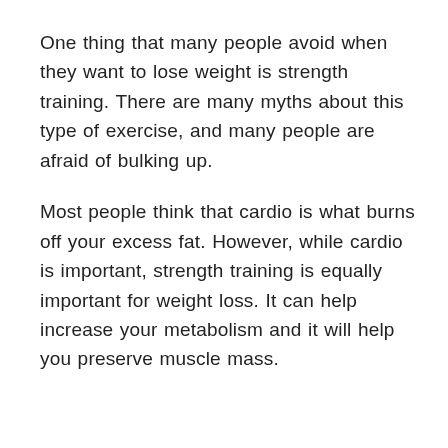One thing that many people avoid when they want to lose weight is strength training. There are many myths about this type of exercise, and many people are afraid of bulking up.
Most people think that cardio is what burns off your excess fat. However, while cardio is important, strength training is equally important for weight loss. It can help increase your metabolism and it will help you preserve muscle mass.